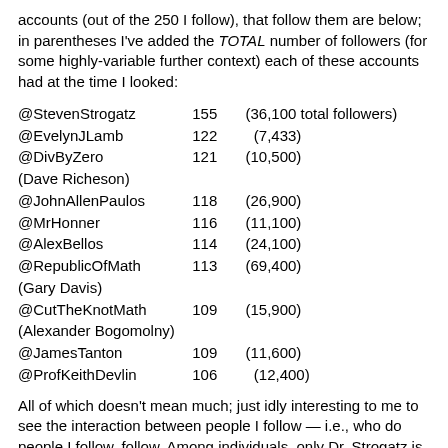accounts (out of the 250 I follow), that follow them are below; in parentheses I've added the TOTAL number of followers (for some highly-variable further context) each of these accounts had at the time I looked:
| Handle | Count | Total Followers |
| --- | --- | --- |
| @StevenStrogatz | 155 | (36,100 total followers) |
| @EvelynJLamb | 122 | (7,433) |
| @DivByZero
(Dave Richeson) | 121 | (10,500) |
| @JohnAllenPaulos | 118 | (26,900) |
| @MrHonner | 116 | (11,100) |
| @AlexBellos | 114 | (24,100) |
| @RepublicOfMath
(Gary Davis) | 113 | (69,400) |
| @CutTheKnotMath
(Alexander Bogomolny) | 109 | (15,900) |
| @JamesTanton | 109 | (11,600) |
| @ProfKeithDevlin | 106 | (12,400) |
All of which doesn't mean much; just idly interesting to me to see the interaction between people I follow — i.e., who do people I follow, follow. Among individuals, only Dr. Strogatz is followed by over half (62%) of those I follow. (On-the-other-hand, he's followed, overall, by 5 times more accounts than Dr. Lamb who edges into second place in my group,